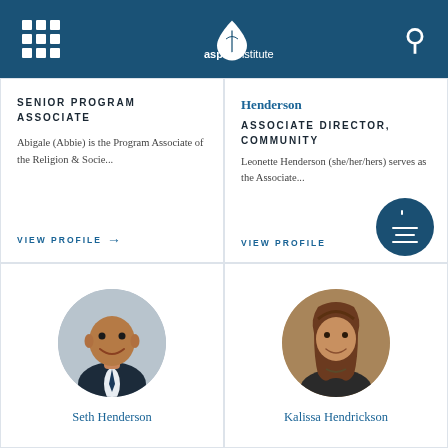Aspen Institute
SENIOR PROGRAM ASSOCIATE
Abigale (Abbie) is the Program Associate of the Religion & Socie...
VIEW PROFILE →
Henderson
ASSOCIATE DIRECTOR, COMMUNITY
Leonette Henderson (she/her/hers) serves as the Associate...
VIEW PROFILE
[Figure (photo): Circular headshot photo of Seth Henderson, a bald Black man smiling in a suit and tie]
Seth Henderson
[Figure (photo): Circular headshot photo of Kalissa Hendrickson, a woman with long brown hair]
Kalissa Hendrickson